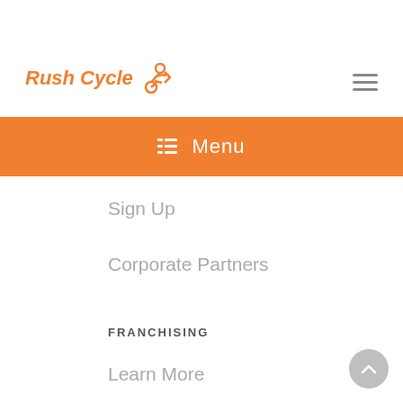[Figure (logo): Rush Cycle logo with cyclist icon in orange]
[Figure (other): Hamburger menu icon (three horizontal lines)]
☰  Menu
Sign Up
Corporate Partners
FRANCHISING
Learn More